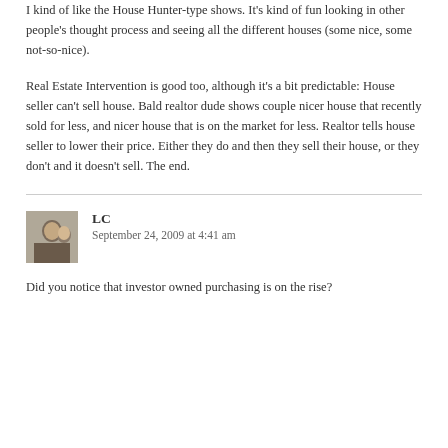I kind of like the House Hunter-type shows. It's kind of fun looking in other people's thought process and seeing all the different houses (some nice, some not-so-nice).
Real Estate Intervention is good too, although it's a bit predictable: House seller can't sell house. Bald realtor dude shows couple nicer house that recently sold for less, and nicer house that is on the market for less. Realtor tells house seller to lower their price. Either they do and then they sell their house, or they don't and it doesn't sell. The end.
LC
September 24, 2009 at 4:41 am
Did you notice that investor owned purchasing is on the rise?